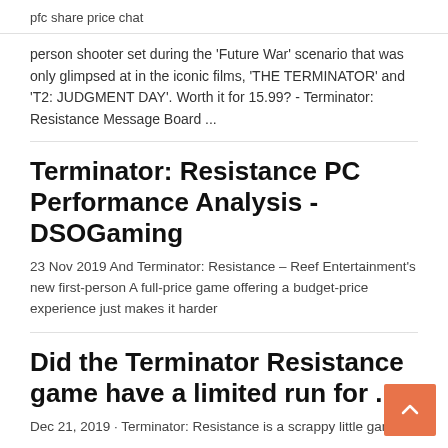pfc share price chat
person shooter set during the 'Future War' scenario that was only glimpsed at in the iconic films, 'THE TERMINATOR' and 'T2: JUDGMENT DAY'. Worth it for 15.99? - Terminator: Resistance Message Board ...
Terminator: Resistance PC Performance Analysis - DSOGaming
23 Nov 2019 And Terminator: Resistance – Reef Entertainment's new first-person A full-price game offering a budget-price experience just makes it harder
Did the Terminator Resistance game have a limited run for ...
Dec 21, 2019 · Terminator: Resistance is a scrappy little game with a lot of heart and it aims to give devoted fans what they've wanted since the